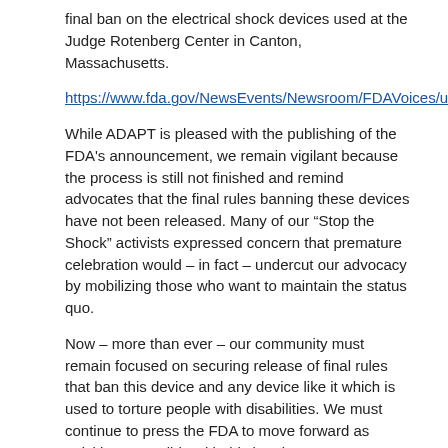final ban on the electrical shock devices used at the Judge Rotenberg Center in Canton, Massachusetts.
https://www.fda.gov/NewsEvents/Newsroom/FDAVoices/ucm623619.htm
While ADAPT is pleased with the publishing of the FDA's announcement, we remain vigilant because the process is still not finished and remind advocates that the final rules banning these devices have not been released. Many of our “Stop the Shock” activists expressed concern that premature celebration would – in fact – undercut our advocacy by mobilizing those who want to maintain the status quo.
Now – more than ever – our community must remain focused on securing release of final rules that ban this device and any device like it which is used to torture people with disabilities. We must continue to press the FDA to move forward as quickly as possible with this ban because – everyday – disabled people are being tortured in the name of “treatment”.
We must also remember that when this device is finally banned, the disabled people who have been tortured will remain locked in